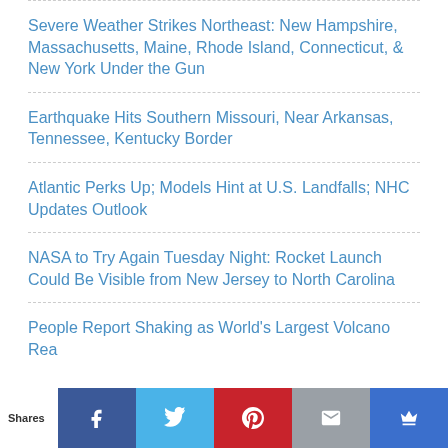Severe Weather Strikes Northeast: New Hampshire, Massachusetts, Maine, Rhode Island, Connecticut, & New York Under the Gun
Earthquake Hits Southern Missouri, Near Arkansas, Tennessee, Kentucky Border
Atlantic Perks Up; Models Hint at U.S. Landfalls; NHC Updates Outlook
NASA to Try Again Tuesday Night: Rocket Launch Could Be Visible from New Jersey to North Carolina
People Report Shaking as World's Largest Volcano Rea…
Shares | Facebook | Twitter | Pinterest | Mail | Crown